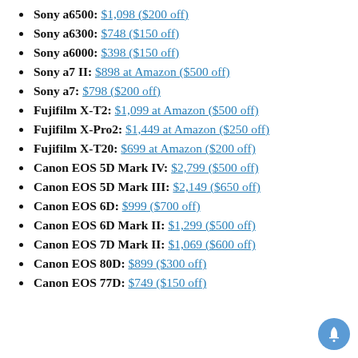Sony a6500: $1,098 ($200 off)
Sony a6300: $748 ($150 off)
Sony a6000: $398 ($150 off)
Sony a7 II: $898 at Amazon ($500 off)
Sony a7: $798 ($200 off)
Fujifilm X-T2: $1,099 at Amazon ($500 off)
Fujifilm X-Pro2: $1,449 at Amazon ($250 off)
Fujifilm X-T20: $699 at Amazon ($200 off)
Canon EOS 5D Mark IV: $2,799 ($500 off)
Canon EOS 5D Mark III: $2,149 ($650 off)
Canon EOS 6D: $999 ($700 off)
Canon EOS 6D Mark II: $1,299 ($500 off)
Canon EOS 7D Mark II: $1,069 ($600 off)
Canon EOS 80D: $899 ($300 off)
Canon EOS 77D: $749 ($150 off)